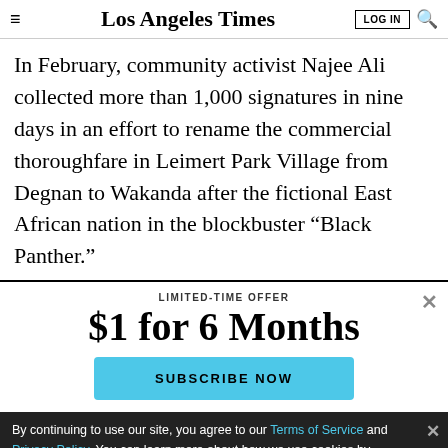Los Angeles Times
In February, community activist Najee Ali collected more than 1,000 signatures in nine days in an effort to rename the commercial thoroughfare in Leimert Park Village from Degnan to Wakanda after the fictional East African nation in the blockbuster “Black Panther.”
LIMITED-TIME OFFER
$1 for 6 Months
SUBSCRIBE NOW
By continuing to use our site, you agree to our Terms of Service and Privacy Policy. You can learn more about how we use cookies by reviewing our Privacy Policy. Close